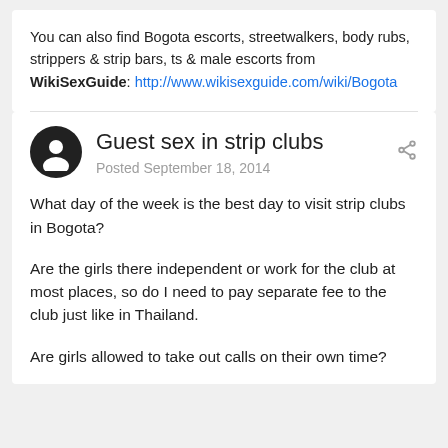You can also find Bogota escorts, streetwalkers, body rubs, strippers & strip bars, ts & male escorts from WikiSexGuide: http://www.wikisexguide.com/wiki/Bogota
Guest sex in strip clubs
Posted September 18, 2014
What day of the week is the best day to visit strip clubs in Bogota?
Are the girls there independent or work for the club at most places, so do I need to pay separate fee to the club just like in Thailand.
Are girls allowed to take out calls on their own time?